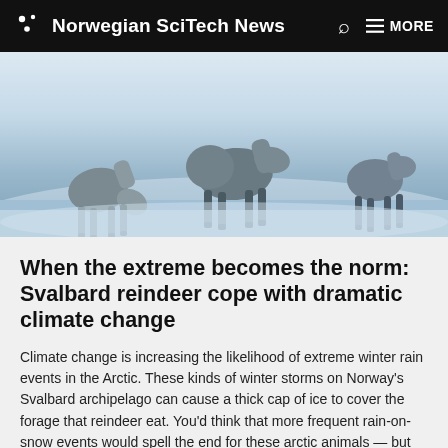Norwegian SciTech News
[Figure (photo): Reindeer grazing in snowy Arctic landscape on Svalbard, viewed from behind, with a pale wintry blue-white background]
When the extreme becomes the norm: Svalbard reindeer cope with dramatic climate change
Climate change is increasing the likelihood of extreme winter rain events in the Arctic. These kinds of winter storms on Norway's Svalbard archipelago can cause a thick cap of ice to cover the forage that reindeer eat. You'd think that more frequent rain-on-snow events would spell the end for these arctic animals — but you'd be wrong.
Published 08.04.19